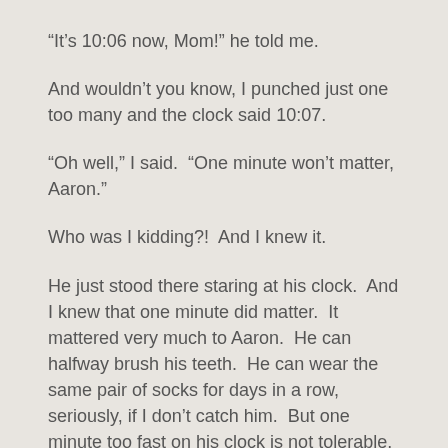“It’s 10:06 now, Mom!” he told me.
And wouldn’t you know, I punched just one too many and the clock said 10:07.
“Oh well,” I said.  “One minute won’t matter, Aaron.”
Who was I kidding?!  And I knew it.
He just stood there staring at his clock.  And I knew that one minute did matter.  It mattered very much to Aaron.  He can halfway brush his teeth.  He can wear the same pair of socks for days in a row, seriously, if I don’t catch him.  But one minute too fast on his clock is not tolerable.  Not at all.